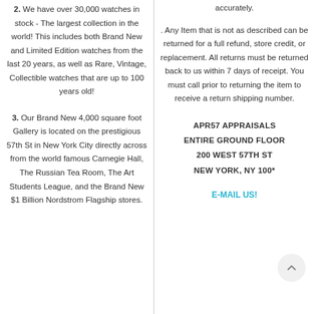2. We have over 30,000 watches in stock - The largest collection in the world! This includes both Brand New and Limited Edition watches from the last 20 years, as well as Rare, Vintage, Collectible watches that are up to 100 years old!
3. Our Brand New 4,000 square foot Gallery is located on the prestigious 57th St in New York City directly across from the world famous Carnegie Hall, The Russian Tea Room, The Art Students League, and the Brand New $1 Billion Nordstrom Flagship stores.
accurately.
. Any Item that is not as described can be returned for a full refund, store credit, or replacement. All returns must be returned back to us within 7 days of receipt. You must call prior to returning the item to receive a return shipping number.
APR57 APPRAISALS
ENTIRE GROUND FLOOR
200 WEST 57TH ST
NEW YORK, NY 100*
E-MAIL US!